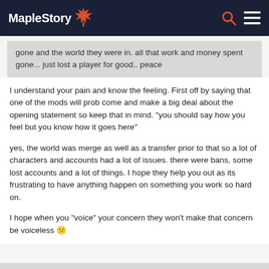MapleStory
gone and the world they were in. all that work and money spent gone... just lost a player for good.. peace
I understand your pain and know the feeling. First off by saying that one of the mods will prob come and make a big deal about the opening statement so keep that in mind. "you should say how you feel but you know how it goes here"
yes, the world was merge as well as a transfer prior to that so a lot of characters and accounts had a lot of issues. there were bans, some lost accounts and a lot of things. I hope they help you out as its frustrating to have anything happen on something you work so hard on.
I hope when you "voice" your concern they won't make that concern be voiceless 😕